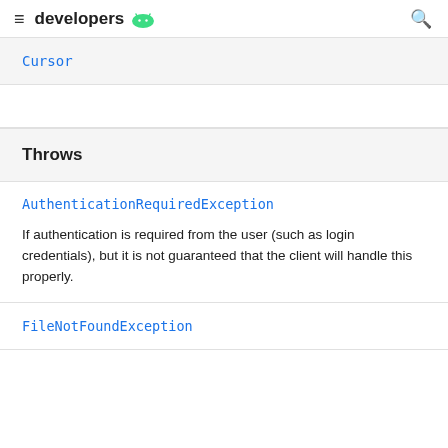≡ developers 🤖 🔍
Cursor
Throws
AuthenticationRequiredException
If authentication is required from the user (such as login credentials), but it is not guaranteed that the client will handle this properly.
FileNotFoundException